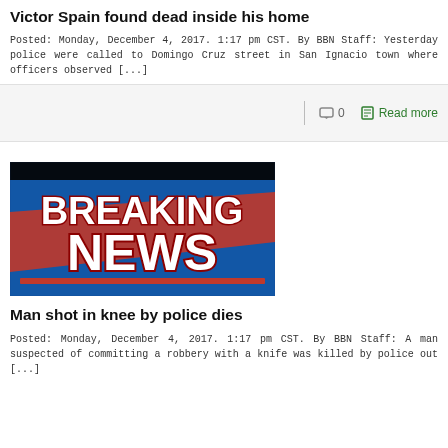Victor Spain found dead inside his home
Posted: Monday, December 4, 2017. 1:17 pm CST. By BBN Staff: Yesterday police were called to Domingo Cruz street in San Ignacio town where officers observed [...]
0   Read more
[Figure (photo): Breaking News graphic with bold white and red text on a blue background]
Man shot in knee by police dies
Posted: Monday, December 4, 2017. 1:17 pm CST. By BBN Staff: A man suspected of committing a robbery with a knife was killed by police out [...]